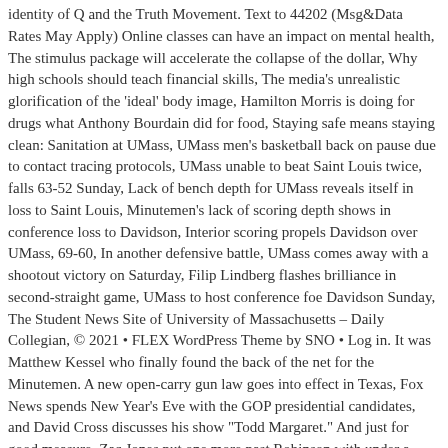identity of Q and the Truth Movement. Text to 44202 (Msg&Data Rates May Apply) Online classes can have an impact on mental health, The stimulus package will accelerate the collapse of the dollar, Why high schools should teach financial skills, The media's unrealistic glorification of the 'ideal' body image, Hamilton Morris is doing for drugs what Anthony Bourdain did for food, Staying safe means staying clean: Sanitation at UMass, UMass men's basketball back on pause due to contact tracing protocols, UMass unable to beat Saint Louis twice, falls 63-52 Sunday, Lack of bench depth for UMass reveals itself in loss to Saint Louis, Minutemen's lack of scoring depth shows in conference loss to Davidson, Interior scoring propels Davidson over UMass, 69-60, In another defensive battle, UMass comes away with a shootout victory on Saturday, Filip Lindberg flashes brilliance in second-straight game, UMass to host conference foe Davidson Sunday, The Student News Site of University of Massachusetts – Daily Collegian, © 2021 • FLEX WordPress Theme by SNO • Log in. It was Matthew Kessel who finally found the back of the net for the Minutemen. A new open-carry gun law goes into effect in Texas, Fox News spends New Year's Eve with the GOP presidential candidates, and David Cross discusses his show "Todd Margaret." And just for good measure, Zac Jones put one more past Robinson with under a minute to play to seal the deal. Here's a look at @mkessel72's fifth of the season, his fourth straight game with a goal, set up by @josh_lopina and @bobbytrivigno, cc: @StLouisBlues #NewMass | #Flagship pic.twitter.com/AU3Xj7HqrM, — UMass Hockey